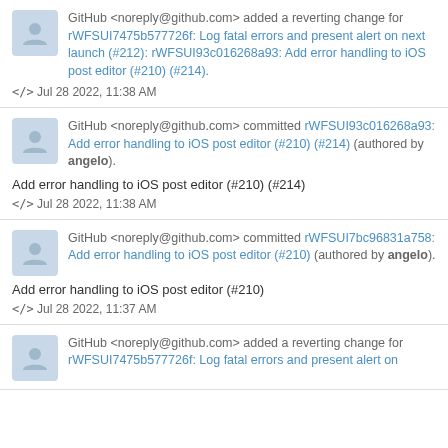GitHub <noreply@github.com> added a reverting change for rWFSUI7475b577726f: Log fatal errors and present alert on next launch (#212): rWFSUI93c016268a93: Add error handling to iOS post editor (#210) (#214).
</> Jul 28 2022, 11:38 AM
GitHub <noreply@github.com> committed rWFSUI93c016268a93: Add error handling to iOS post editor (#210) (#214) (authored by angelo).
Add error handling to iOS post editor (#210) (#214)
</> Jul 28 2022, 11:38 AM
GitHub <noreply@github.com> committed rWFSUI7bc96831a758: Add error handling to iOS post editor (#210) (authored by angelo).
Add error handling to iOS post editor (#210)
</> Jul 28 2022, 11:37 AM
GitHub <noreply@github.com> added a reverting change for rWFSUI7475b577726f: Log fatal errors and present alert on